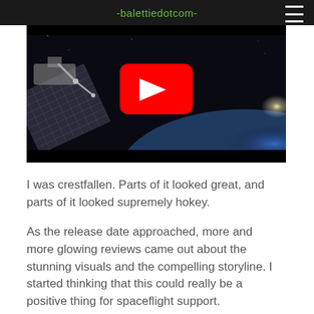-balettiedotcom-
[Figure (screenshot): YouTube video thumbnail showing a space station or spacecraft above Earth with solar panels, set against dark space. A red YouTube play button is centered on the image.]
I was crestfallen. Parts of it looked great, and parts of it looked supremely hokey.
As the release date approached, more and more glowing reviews came out about the stunning visuals and the compelling storyline. I started thinking that this could really be a positive thing for spaceflight support.